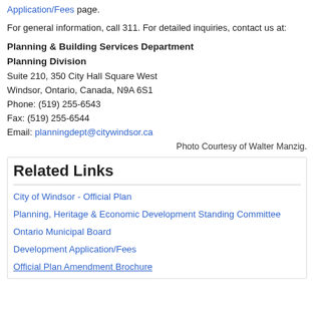Application/Fees page.
For general information, call 311. For detailed inquiries, contact us at:
Planning & Building Services Department
Planning Division
Suite 210, 350 City Hall Square West
Windsor, Ontario, Canada, N9A 6S1
Phone: (519) 255-6543
Fax: (519) 255-6544
Email: planningdept@citywindsor.ca
Photo Courtesy of Walter Manzig.
Related Links
City of Windsor - Official Plan
Planning, Heritage & Economic Development Standing Committee
Ontario Municipal Board
Development Application/Fees
Official Plan Amendment Brochure